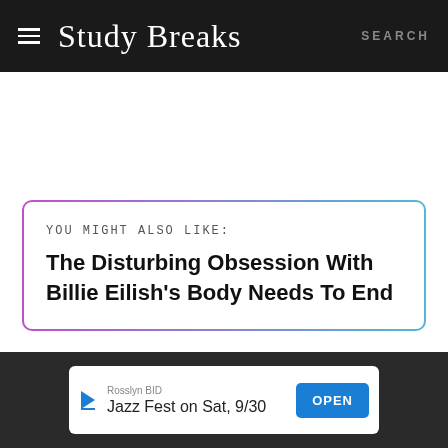Study Breaks | SEARCH
YOU MIGHT ALSO LIKE:
The Disturbing Obsession With Billie Eilish's Body Needs To End
Rosslyn BID | Jazz Fest on Sat, 9/30 | OPEN